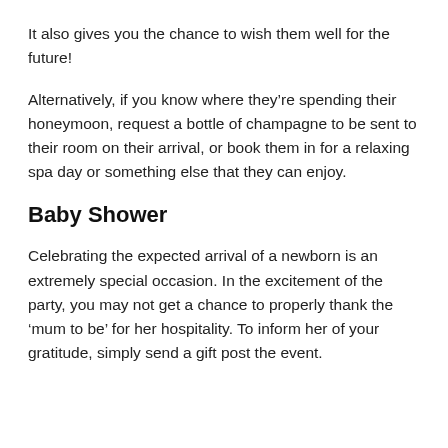It also gives you the chance to wish them well for the future!
Alternatively, if you know where they’re spending their honeymoon, request a bottle of champagne to be sent to their room on their arrival, or book them in for a relaxing spa day or something else that they can enjoy.
Baby Shower
Celebrating the expected arrival of a newborn is an extremely special occasion. In the excitement of the party, you may not get a chance to properly thank the ‘mum to be’ for her hospitality. To inform her of your gratitude, simply send a gift post the event.